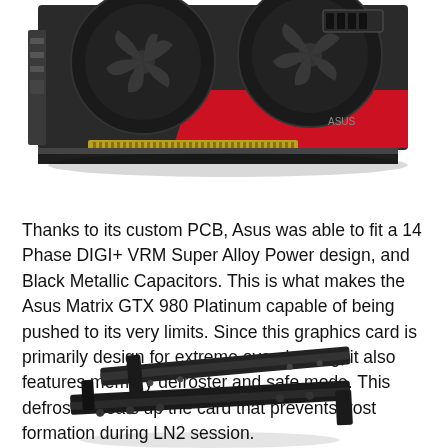[Figure (photo): Photo of an ASUS Matrix GTX 980 Platinum graphics card viewed from the side, showing dual fans on top and red accent trim, with PCIe connector visible.]
Thanks to its custom PCB, Asus was able to fit a 14 Phase DIGI+ VRM Super Alloy Power design, and Black Metallic Capacitors. This is what makes the Asus Matrix GTX 980 Platinum capable of being pushed to its very limits. Since this graphics card is primarily design for extreme overclocking, it also features memory defroster and safe mode. This defroster heats up the card that prevents frost formation during LN2 session.
[Figure (photo): Photo of black metal mounting brackets for a graphics card or PC component, shown at an angle on a white background.]